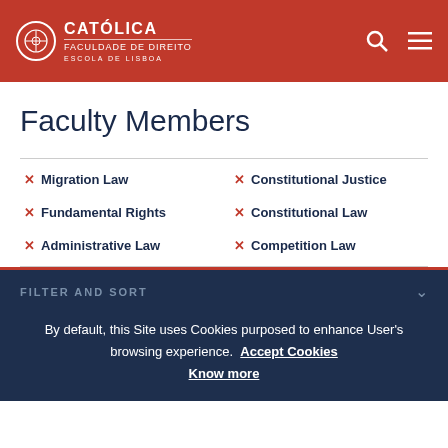CATOLICA FACULDADE DE DIREITO ESCOLA DE LISBOA
Faculty Members
× Migration Law
× Constitutional Justice
× Fundamental Rights
× Constitutional Law
× Administrative Law
× Competition Law
FILTER AND SORT
By default, this Site uses Cookies purposed to enhance User's browsing experience. Accept Cookies Know more